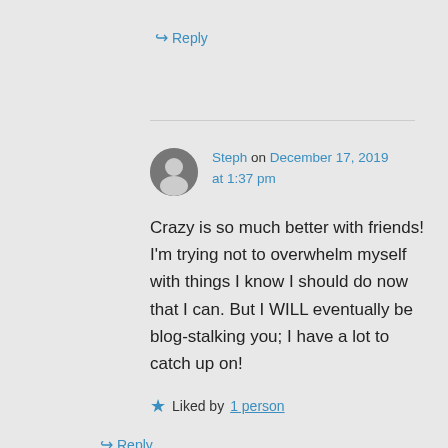↪ Reply
Steph on December 17, 2019 at 1:37 pm
Crazy is so much better with friends! I'm trying not to overwhelm myself with things I know I should do now that I can. But I WILL eventually be blog-stalking you; I have a lot to catch up on!
★ Liked by 1 person
↪ Reply